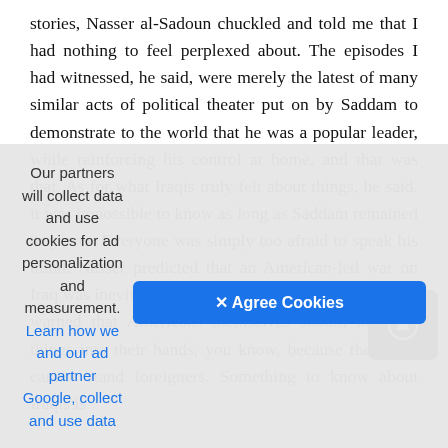stories, Nasser al-Sadoun chuckled and told me that I had nothing to feel perplexed about. The episodes I had witnessed, he said, were merely the latest of many similar acts of political theater put on by Saddam to demonstrate to the world that he was a popular leader, while reinforcing his control at home, and that was that. As for what Iraqis truly felt about things, he said, it was impossible to know as long as Saddam remained in power. Everyone was simply too afraid to speak his mind. Nasser predicted that an American-led war on Iraq was inevitable and that Saddam would lose, but he warned that Americans themselves should not take things into their hands, you know, because the Iraqis cannot stand foreigners. Something to know about Iraqis is
Our partners will collect data and use cookies for ad personalization and measurement. Learn how we and our ad partner Google, collect and use data